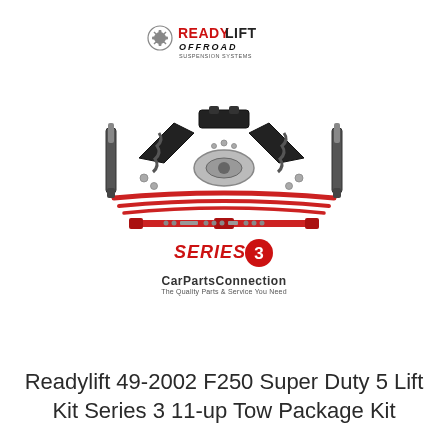[Figure (photo): ReadyLift Off Road logo at top center, below it a product photo showing a 5-inch lift kit with springs, shocks, control arms, leaf springs, and hardware components spread out. Below the parts photo is a 'SERIES 3' badge logo, and below that is 'CarPartsConnection - The Quality Parts & Service You Need' text.]
Readylift 49-2002 F250 Super Duty 5 Lift Kit Series 3 11-up Tow Package Kit